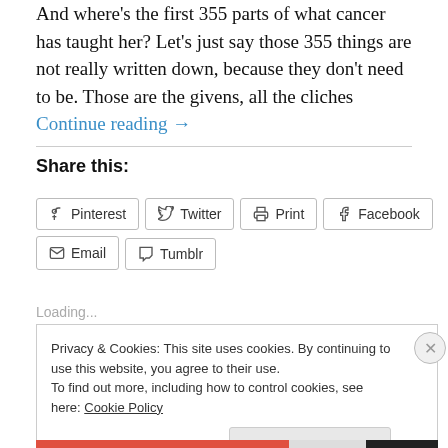And where's the first 355 parts of what cancer has taught her? Let's just say those 355 things are not really written down, because they don't need to be. Those are the givens, all the cliches Continue reading →
Share this:
Pinterest
Twitter
Print
Facebook
Email
Tumblr
Loading...
Privacy & Cookies: This site uses cookies. By continuing to use this website, you agree to their use.
To find out more, including how to control cookies, see here: Cookie Policy
Close and accept